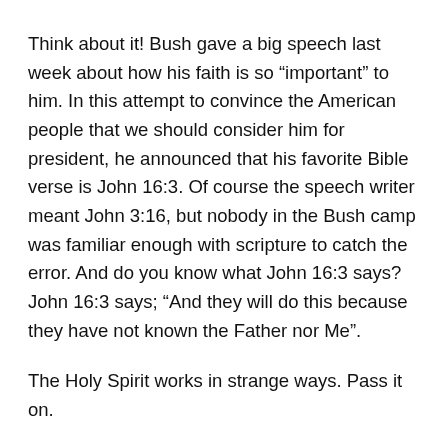Think about it! Bush gave a big speech last week about how his faith is so “important” to him. In this attempt to convince the American people that we should consider him for president, he announced that his favorite Bible verse is John 16:3. Of course the speech writer meant John 3:16, but nobody in the Bush camp was familiar enough with scripture to catch the error. And do you know what John 16:3 says? John 16:3 says; “And they will do this because they have not known the Father nor Me”.
The Holy Spirit works in strange ways. Pass it on.